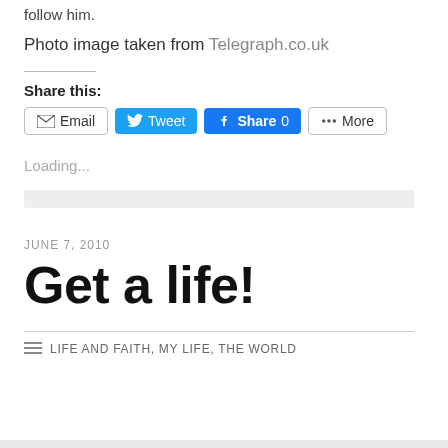follow him.
Photo image taken from Telegraph.co.uk
Share this:
Email  Tweet  Share 0  More
Loading...
JUNE 7, 2010
Get a life!
LIFE AND FAITH, MY LIFE, THE WORLD